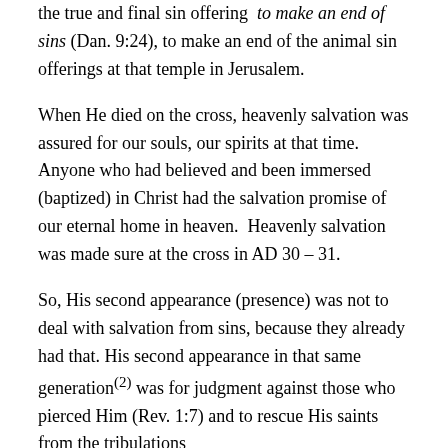the true and final sin offering to make an end of sins (Dan. 9:24), to make an end of the animal sin offerings at that temple in Jerusalem.
When He died on the cross, heavenly salvation was assured for our souls, our spirits at that time. Anyone who had believed and been immersed (baptized) in Christ had the salvation promise of our eternal home in heaven.  Heavenly salvation was made sure at the cross in AD 30 – 31.
So, His second appearance (presence) was not to deal with salvation from sins, because they already had that. His second appearance in that same generation(2) was for judgment against those who pierced Him (Rev. 1:7) and to rescue His saints from the tribulations